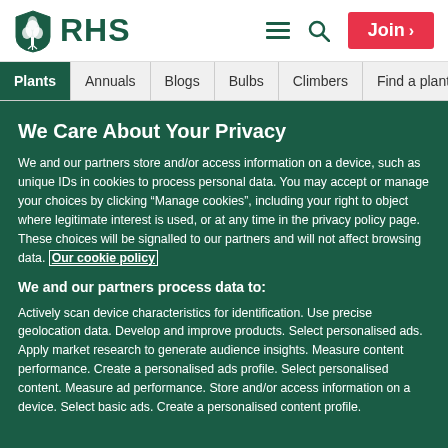RHS | Plants | Annuals | Blogs | Bulbs | Climbers | Find a plant | Fruit | Join
We Care About Your Privacy
We and our partners store and/or access information on a device, such as unique IDs in cookies to process personal data. You may accept or manage your choices by clicking “Manage cookies”, including your right to object where legitimate interest is used, or at any time in the privacy policy page. These choices will be signalled to our partners and will not affect browsing data. Our cookie policy
We and our partners process data to:
Actively scan device characteristics for identification. Use precise geolocation data. Develop and improve products. Select personalised ads. Apply market research to generate audience insights. Measure content performance. Create a personalised ads profile. Select personalised content. Measure ad performance. Store and/or access information on a device. Select basic ads. Create a personalised content profile.